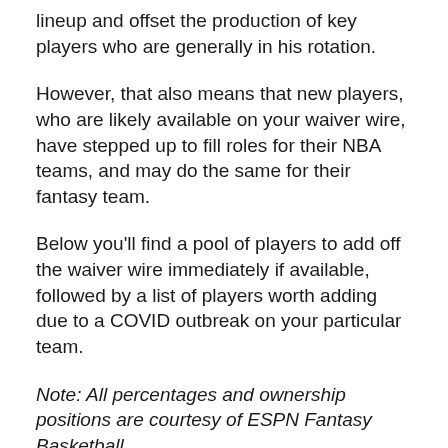lineup and offset the production of key players who are generally in his rotation.
However, that also means that new players, who are likely available on your waiver wire, have stepped up to fill roles for their NBA teams, and may do the same for their fantasy team.
Below you'll find a pool of players to add off the waiver wire immediately if available, followed by a list of players worth adding due to a COVID outbreak on your particular team.
Note: All percentages and ownership positions are courtesy of ESPN Fantasy Basketball.